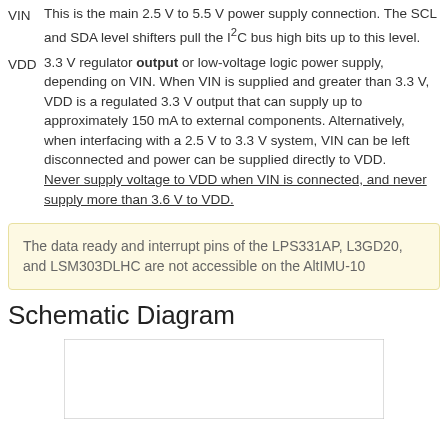VIN  This is the main 2.5 V to 5.5 V power supply connection. The SCL and SDA level shifters pull the I²C bus high bits up to this level.
VDD  3.3 V regulator output or low-voltage logic power supply, depending on VIN. When VIN is supplied and greater than 3.3 V, VDD is a regulated 3.3 V output that can supply up to approximately 150 mA to external components. Alternatively, when interfacing with a 2.5 V to 3.3 V system, VIN can be left disconnected and power can be supplied directly to VDD. Never supply voltage to VDD when VIN is connected, and never supply more than 3.6 V to VDD.
The data ready and interrupt pins of the LPS331AP, L3GD20, and LSM303DLHC are not accessible on the AltIMU-10
Schematic Diagram
[Figure (schematic): Schematic diagram box (partially visible, white rectangle with border)]